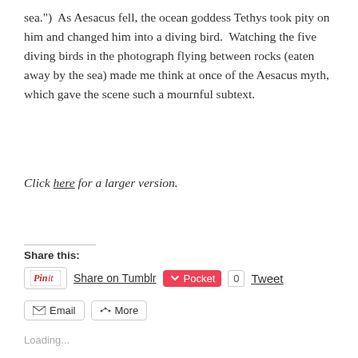sea.")  As Aesacus fell, the ocean goddess Tethys took pity on him and changed him into a diving bird.  Watching the five diving birds in the photograph flying between rocks (eaten away by the sea) made me think at once of the Aesacus myth, which gave the scene such a mournful subtext.
Click here for a larger version.
Share this:
[Figure (screenshot): Social sharing buttons: Pin it, Share on Tumblr, Pocket (count 0), Tweet, Email, More]
Loading...